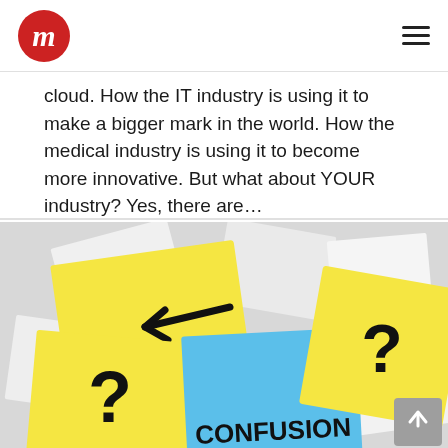Navigation bar with logo and hamburger menu
cloud. How the IT industry is using it to make a bigger mark in the world. How the medical industry is using it to become more innovative. But what about YOUR industry? Yes, there are…
[Figure (photo): Scattered yellow and blue sticky notes with question marks, an arrow, and the word CONFUSION written on the blue note]